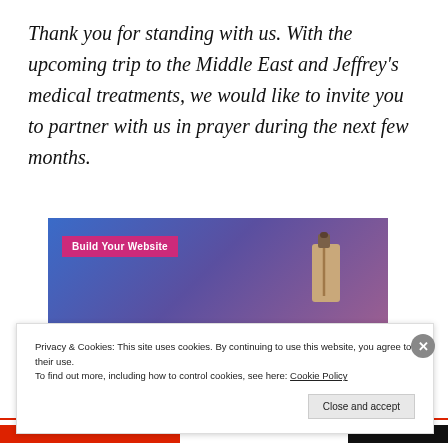Thank you for standing with us. With the upcoming trip to the Middle East and Jeffrey's medical treatments, we would like to invite you to partner with us in prayer during the next few months.
[Figure (screenshot): A website banner with a blue-to-purple gradient background, a pink 'Build Your Website' button on the left, and a tan price tag icon on the right.]
Privacy & Cookies: This site uses cookies. By continuing to use this website, you agree to their use.
To find out more, including how to control cookies, see here: Cookie Policy